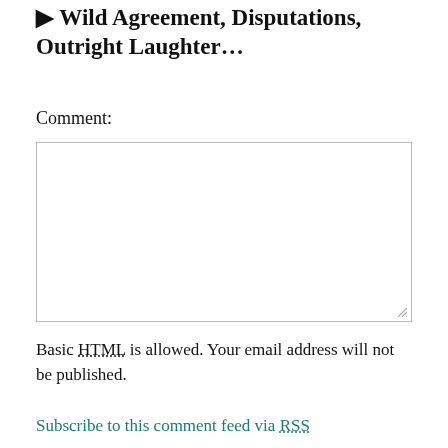▶ Wild Agreement, Disputations, Outright Laughter…
Comment:
Basic HTML is allowed. Your email address will not be published.
Subscribe to this comment feed via RSS